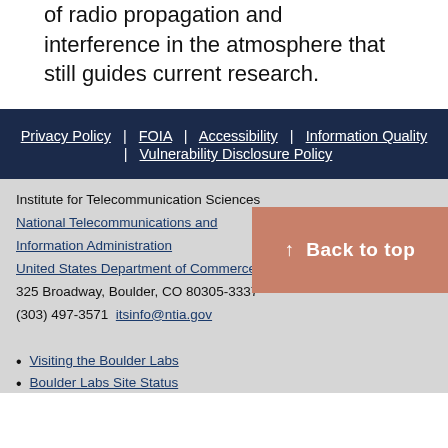of radio propagation and interference in the atmosphere that still guides current research.
Privacy Policy | FOIA | Accessibility | Information Quality | Vulnerability Disclosure Policy
Institute for Telecommunication Sciences
National Telecommunications and Information Administration
United States Department of Commerce
325 Broadway, Boulder, CO 80305-3337
(303) 497-3571 itsinfo@ntia.gov
Visiting the Boulder Labs
Boulder Labs Site Status